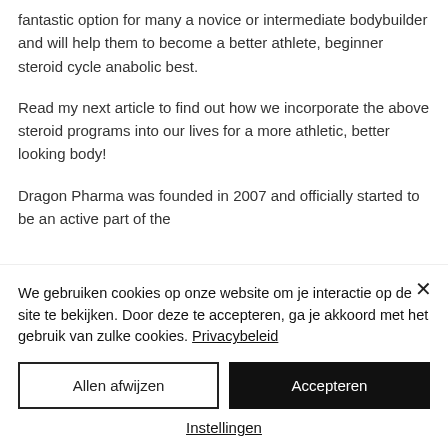fantastic option for many a novice or intermediate bodybuilder and will help them to become a better athlete, beginner steroid cycle anabolic best.
Read my next article to find out how we incorporate the above steroid programs into our lives for a more athletic, better looking body!
Dragon Pharma was founded in 2007 and officially started to be an active part of the
We gebruiken cookies op onze website om je interactie op de site te bekijken. Door deze te accepteren, ga je akkoord met het gebruik van zulke cookies. Privacybeleid
Allen afwijzen
Accepteren
Instellingen